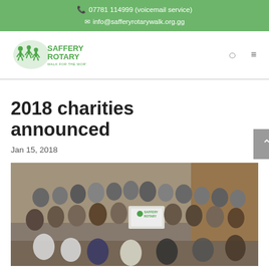📞 07781 114999 (voicemail service)
✉ info@safferyrotarywalk.org.gg
[Figure (logo): Saffery Rotary Walk logo with green silhouettes of walkers and green text reading SAFFERY ROTARY]
2018 charities announced
Jan 15, 2018
[Figure (photo): Group photo of approximately 40 people standing and sitting in a room, some wearing white t-shirts. One person in the centre holds a Saffery Rotary Walk banner/sign.]